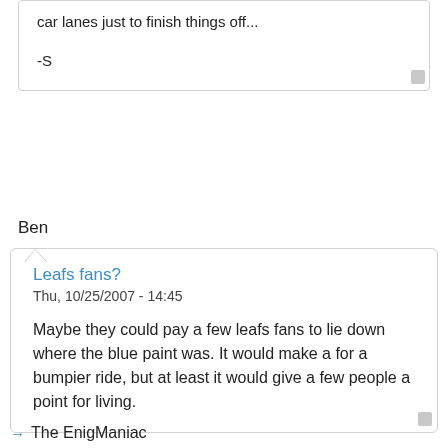car lanes just to finish things off...

-S
Ben
Leafs fans?
Thu, 10/25/2007 - 14:45
Maybe they could pay a few leafs fans to lie down where the blue paint was. It would make a for a bumpier ride, but at least it would give a few people a point for living.
The EnigManiac